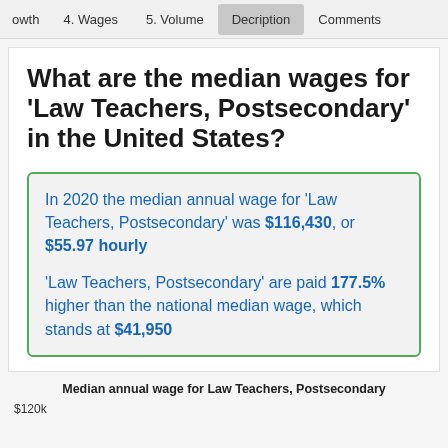owth   4. Wages   5. Volume   Decription   Comments
What are the median wages for 'Law Teachers, Postsecondary' in the United States?
In 2020 the median annual wage for 'Law Teachers, Postsecondary' was $116,430, or $55.97 hourly
'Law Teachers, Postsecondary' are paid 177.5% higher than the national median wage, which stands at $41,950
Median annual wage for Law Teachers, Postsecondary
$120k